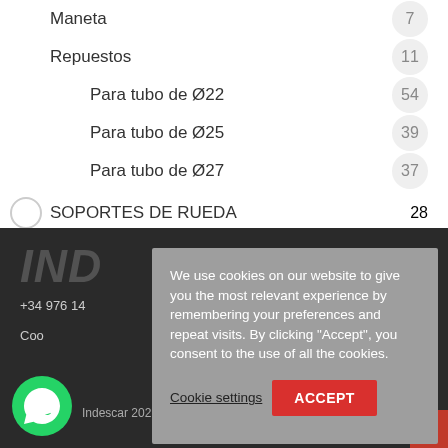Maneta  7
Repuestos  11
Para tubo de Ø22  54
Para tubo de Ø25  39
Para tubo de Ø27  37
SOPORTES DE RUEDA  28
[Figure (logo): IND... partial logo text in italic bold white/grey on dark background]
+34 976 14...
Coo...
We use cookies on our website to give you the most relevant experience by remembering your preferences and repeat visits. By clicking “Accept”, you consent to the use of all the cookies.
Cookie settings   ACCEPT
Indescar 2022